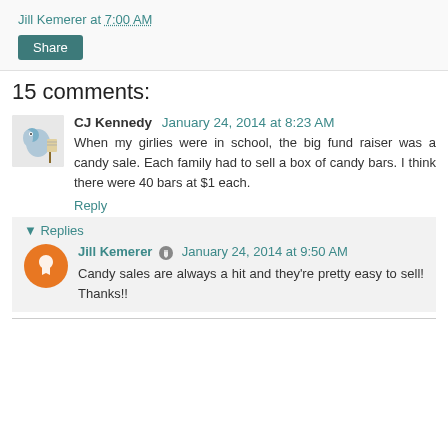Jill Kemerer at 7:00 AM
Share
15 comments:
CJ Kennedy  January 24, 2014 at 8:23 AM
When my girlies were in school, the big fund raiser was a candy sale. Each family had to sell a box of candy bars. I think there were 40 bars at $1 each.
Reply
▼ Replies
Jill Kemerer  January 24, 2014 at 9:50 AM
Candy sales are always a hit and they're pretty easy to sell! Thanks!!